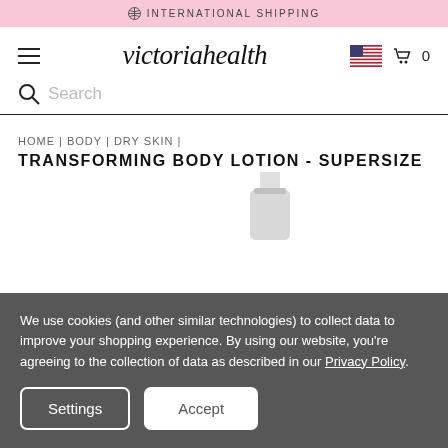INTERNATIONAL SHIPPING
victoriahealth
Search
HOME | BODY | DRY SKIN | TRANSFORMING BODY LOTION - SUPERSIZE
[Figure (photo): Partial view of a white body lotion pump bottle product]
We use cookies (and other similar technologies) to collect data to improve your shopping experience. By using our website, you're agreeing to the collection of data as described in our Privacy Policy.
Settings  Accept